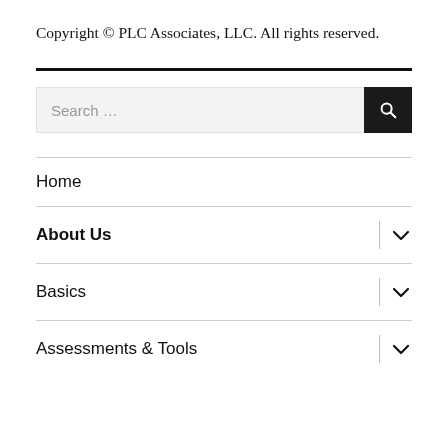Copyright © PLC Associates, LLC. All rights reserved.
Home
About Us
Basics
Assessments & Tools